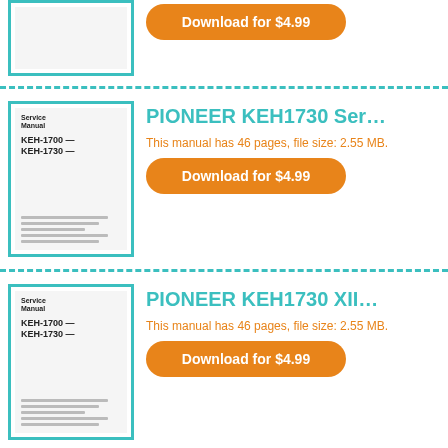[Figure (screenshot): Service manual thumbnail for a Pioneer KEH-1700/KEH-1730 document, partial view at top]
Download for $4.99
PIONEER KEH1730 Ser...
This manual has 46 pages, file size: 2.55 MB.
Download for $4.99
PIONEER KEH1730 XII...
This manual has 46 pages, file size: 2.55 MB.
Download for $4.99
PIONEER KEH1730 XI...